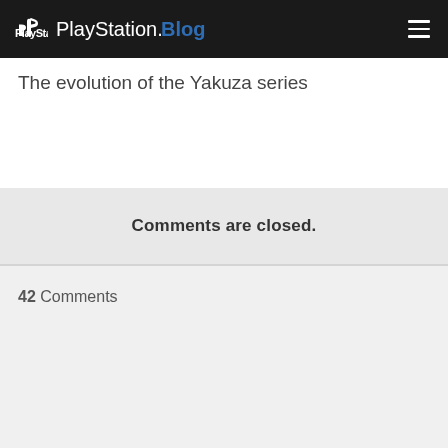PlayStation.Blog
The evolution of the Yakuza series
Comments are closed.
42 Comments